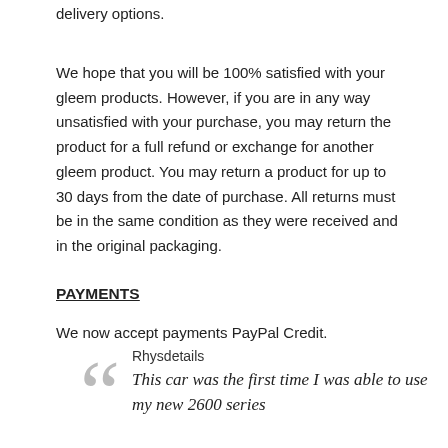delivery options.
We hope that you will be 100% satisfied with your gleem products. However, if you are in any way unsatisfied with your purchase, you may return the product for a full refund or exchange for another gleem product. You may return a product for up to 30 days from the date of purchase. All returns must be in the same condition as they were received and in the original packaging.
PAYMENTS
We now accept payments PayPal Credit.
Rhysdetails
This car was the first time I was able to use my new 2600 series